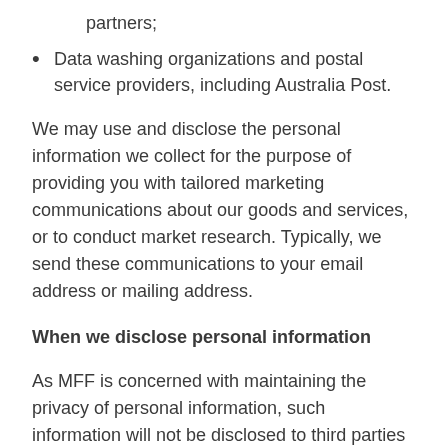partners;
Data washing organizations and postal service providers, including Australia Post.
We may use and disclose the personal information we collect for the purpose of providing you with tailored marketing communications about our goods and services, or to conduct market research. Typically, we send these communications to your email address or mailing address.
When we disclose personal information
As MFF is concerned with maintaining the privacy of personal information, such information will not be disclosed to third parties that are not directly involved